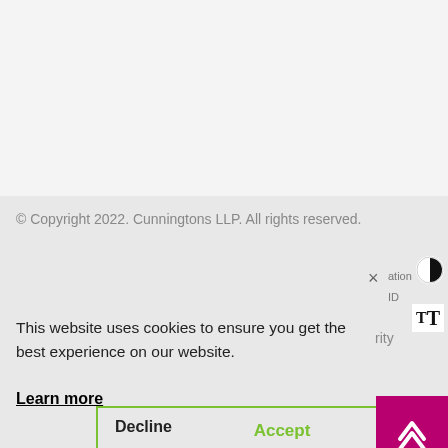© Copyright 2022. Cunningtons LLP. All rights reserved.
This website uses cookies to ensure you get the best experience on our website.
Learn more
Decline
Accept